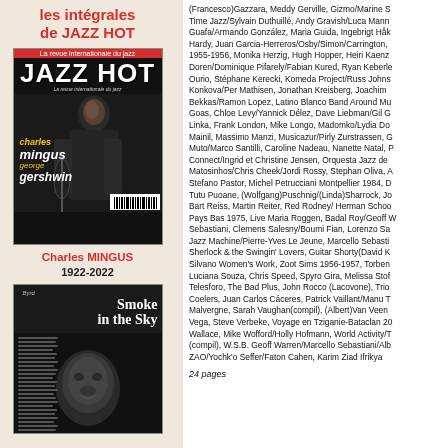les intégrales de JAZZ HOT
[Figure (photo): Cover of Jazz Hot magazine featuring Charles Mingus playing bass, with yellow stylized text 'charles mingus george gershwin']
Charles MINGUS 1922-2022
[Figure (photo): Cover of Jazz Hot magazine titled 'Smoke in the Sky' with a black and white portrait]
(Francesco)Gazzara, Meddy Gerville, Gizmo/Marine S... Time Jazz/Sylvain Duthuillé, Andy Gravish/Luca Mann... Guafa/Armando González, Maria Guida, Ingebrigt Håk... Hardy, Juan Garcia-Herreros/Osby/Simon/Carrington, 1955-1956, Monika Herzig, Hugh Hopper, Heiri Kaenz... Doren/Dominique Pifarely/Fabian Kured, Ryan Keberle... Ourio, Stéphane Kerecki, Komeda Project/Russ Johns... Konkova/Per Mathisen, Jonathan Kreisberg, Joachim ... Bekkas/Ramon Lopez, Latino Blanco Band Around Mu... Goas, Chloe Levy/Yannick Délez, Dave Liebman/Gil G... Linka, Frank London, Mike Longo, Madomko/Lydia Do... Mainil, Massimo Manzi, Musicazur/Pirly Zurstrassen, G... Muto/Marco Santilli, Caroline Nadeau, Nanette Natal, P... Connect/Ingrid et Christine Jensen, Orquesta Jazz de ... Matosinhos/Chris Cheek/Jordi Rossy, Stephan Oliva, A... Stefano Pastor, Michel Petrucciani Montpellier 1984, D... Tutu Puoane, (Wolfgang)Puschnig/(Linda)Sharrock, Jo... Bart Reiss, Martin Reiter, Red Rodney/ Herman Schoo... Pays Bas 1975, Live Maria Roggen, Badal Roy/Geoff W... Sebastiani, Clemens Salesny/Boumi Fian, Lorenzo Sa... Jazz Machine/Pierre-Yves Le Jeune, Marcello Sebasti... Sherlock & the Swingin' Lovers, Guitar Shorty(David K... Silvano Women's Work, Zoot Sims 1956-1957, Torben... Luciana Souza, Chris Speed, Spyro Gira, Melissa Stof... Telesforo, The Bad Plus, John Rocco (Lacovone), Trio... Coelers, Juan Carlos Cáceres, Patrick Vaillant/Manu T... Malvergne, Sarah Vaughan(compil), (Albert)Van Veen... Vega, Steve Verbeke, Voyage en Tziganie-Bataclan 20... Wallace, Mike Wofford/Holly Hofmann, World Activity/T... (compil), W.S.B. Geoff Warren/Marcello Sebastiani/Alb... ZAO/Yochk'o Seffer/Faton Cahen, Karim Ziad Ifrikya
24 pages